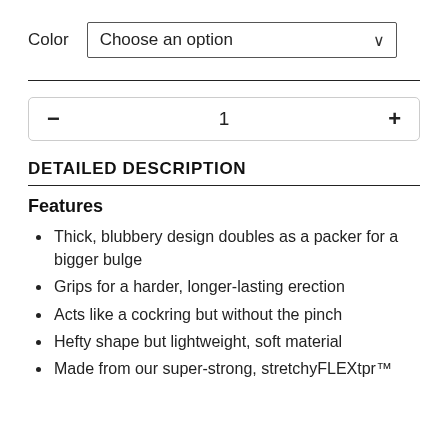Color  Choose an option
1
DETAILED DESCRIPTION
Features
Thick, blubbery design doubles as a packer for a bigger bulge
Grips for a harder, longer-lasting erection
Acts like a cockring but without the pinch
Hefty shape but lightweight, soft material
Made from our super-strong, stretchyFLEXtpr™